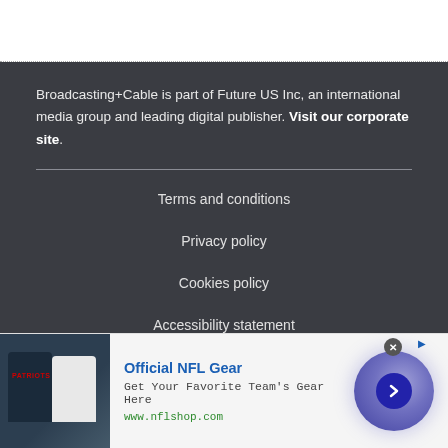Broadcasting+Cable is part of Future US Inc, an international media group and leading digital publisher. Visit our corporate site.
Terms and conditions
Privacy policy
Cookies policy
Accessibility statement
Careers
[Figure (infographic): Advertisement banner for Official NFL Gear featuring football jerseys, text 'Official NFL Gear', 'Get Your Favorite Team's Gear Here', 'www.nflshop.com', a purple circular graphic with arrow button, and a close button.]